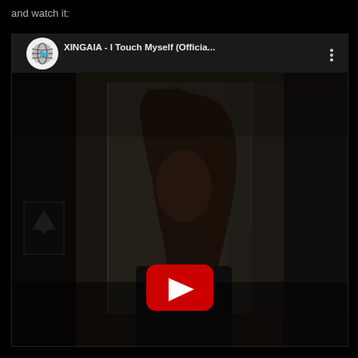and watch it:
[Figure (screenshot): YouTube video embed showing a dark video thumbnail of a person with long hair, with a red YouTube play button in the center. The video title bar shows a circular channel avatar with a globe/earth icon, the title 'XINGAIA - I Touch Myself (Officia...' and a three-dot menu icon. The video thumbnail is very dark showing a person with long dark hair in a dimly lit room.]